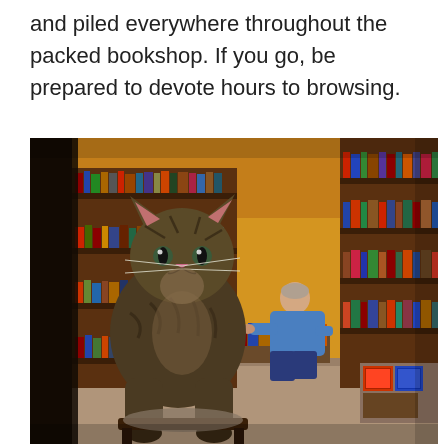and piled everywhere throughout the packed bookshop. If you go, be prepared to devote hours to browsing.
[Figure (photo): A tabby cat sitting on a cushioned chair in a used bookshop, with floor-to-ceiling bookshelves filled with books behind it and a person crouching to browse books on the floor in the background.]